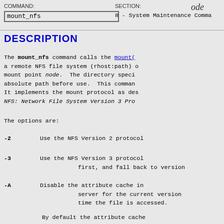COMMAND: mount_nfs   SECTION: 8 - System Maintenance Commands   ode
DESCRIPTION
The mount_nfs command calls the mount(2) system call to mount a remote NFS file system (rhost:path) on to the mount point node. The directory specified must have an absolute path before use. This command is experimental. It implements the mount protocol as described in RFC 1094, NFS: Network File System Version 3 Protocol Specification.
The options are:
-2   Use the NFS Version 2 protocol.
-3   Use the NFS Version 3 protocol. first, and fall back to version
-A   Disable the attribute cache in server for the current version time the file is accessed.
By default the attribute cache consult the server every handf